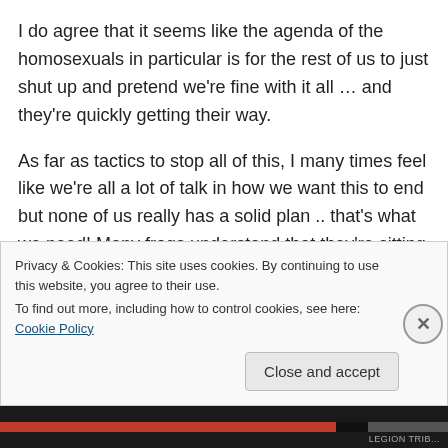I do agree that it seems like the agenda of the homosexuals in particular is for the rest of us to just shut up and pretend we're fine with it all … and they're quickly getting their way.
As far as tactics to stop all of this, I many times feel like we're all a lot of talk in how we want this to end but none of us really has a solid plan .. that's what we need! Many frogs understand that they're sitting in water that is about to cook them but no one seems to know how to get their semi-
Privacy & Cookies: This site uses cookies. By continuing to use this website, you agree to their use.
To find out more, including how to control cookies, see here: Cookie Policy